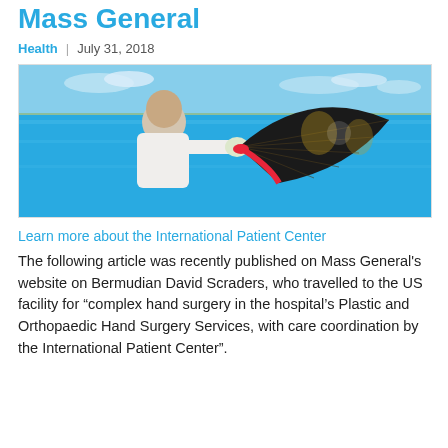Mass General
Health  |  July 31, 2018
[Figure (photo): A man in a white shirt holding a large decorative black and gold Chinese fan with a red center, standing near a turquoise ocean with a shoreline in the background.]
Learn more about the International Patient Center
The following article was recently published on Mass General's website on Bermudian David Scraders, who travelled to the US facility for “complex hand surgery in the hospital’s Plastic and Orthopaedic Hand Surgery Services, with care coordination by the International Patient Center”.